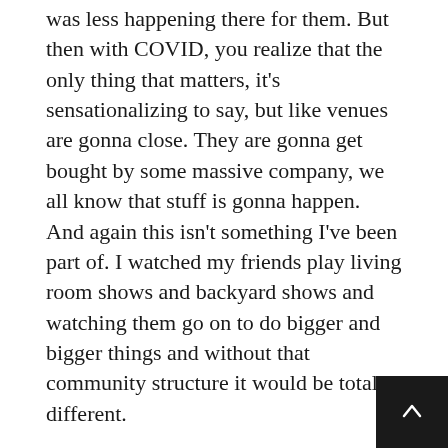was less happening there for them. But then with COVID, you realize that the only thing that matters, it's sensationalizing to say, but like venues are gonna close. They are gonna get bought by some massive company, we all know that stuff is gonna happen. And again this isn't something I've been part of. I watched my friends play living room shows and backyard shows and watching them go on to do bigger and bigger things and without that community structure it would be totally different.
So my relationship with community is from the outside, I've been watching an existing community kind of morph and form. Working with Dylan and workin